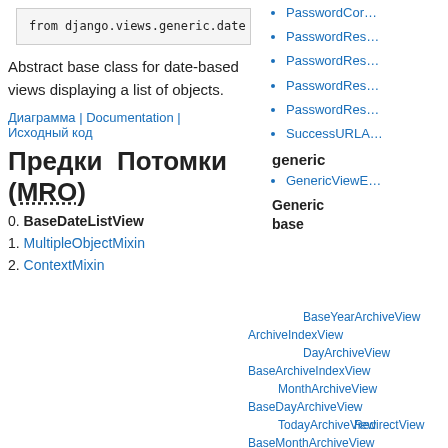[Figure (screenshot): Code snippet showing: from django.views.generic.date]
Abstract base class for date-based views displaying a list of objects.
Диаграмма | Documentation | Исходный код
Предки  Потомки (MRO)
0. BaseDateListView
1. MultipleObjectMixin
2. ContextMixin
PasswordCon...
PasswordRes...
PasswordRes...
PasswordRes...
PasswordRes...
SuccessURLA...
generic
GenericViewE...
Generic base
ArchiveIndexView BaseYearArchiveView DayArchiveView BaseArchiveIndexView MonthArchiveView BaseDayArchiveView TodayArchiveView BaseMonthArchiveView ContextMixin RedirectView